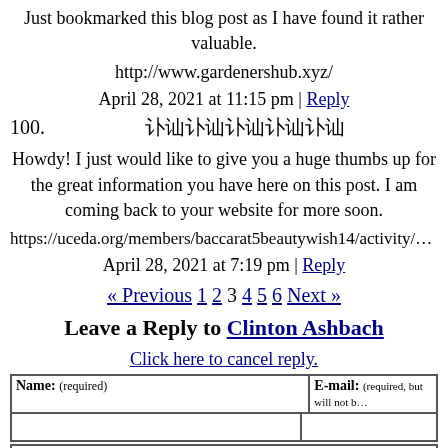Just bookmarked this blog post as I have found it rather valuable.
http://www.gardenershub.xyz/
April 28, 2021 at 11:15 pm | Reply
100. 谷歌谷歌谷歌谷歌谷歌
Howdy! I just would like to give you a huge thumbs up for the great information you have here on this post. I am coming back to your website for more soon.
https://uceda.org/members/baccarat5beautywish14/activity/18…
April 28, 2021 at 7:19 pm | Reply
« Previous 1 2 3 4 5 6 Next »
Leave a Reply to Clinton Ashbach
Click here to cancel reply.
| Name: (required) | E-mail: (required, but will not be published) |
| --- | --- |
|  |  |